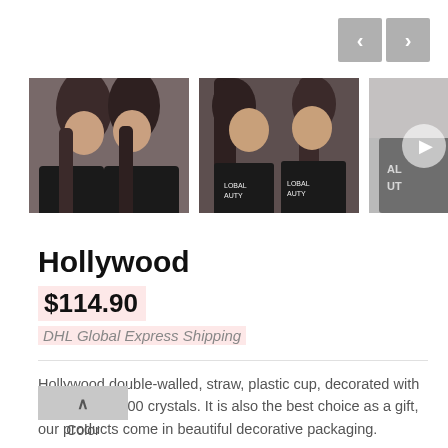[Figure (photo): Navigation arrows (back/forward) in gray boxes, top right]
[Figure (photo): Three product thumbnail images showing two women in black sweatshirts; third thumbnail has video play overlay]
Hollywood
$114.90
DHL Global Express Shipping
Hollywood double-walled, straw, plastic cup, decorated with more than 4,000 crystals. It is also the best choice as a gift, our products come in beautiful decorative packaging.
Color